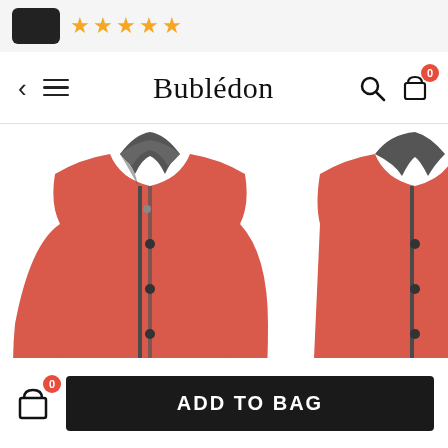[Figure (screenshot): Top strip with dark app icon thumbnail and five gold star rating]
Bubledon
[Figure (photo): Red/coral slim-fit dress shirt with dark grey collar trim and button placket trim, displayed on a headless mannequin; two views side by side]
ADD TO BAG